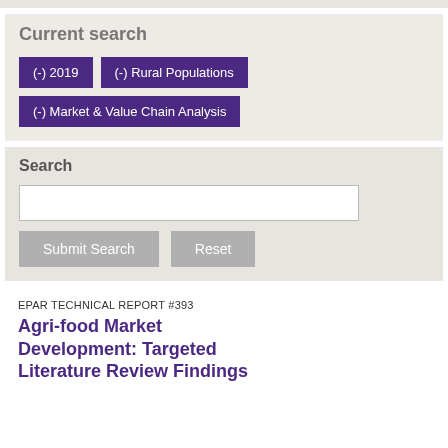Current search
(-) 2019
(-) Rural Populations
(-) Market & Value Chain Analysis
Search
Submit Search   Reset
EPAR TECHNICAL REPORT #393
Agri-food Market Development: Targeted Literature Review Findings